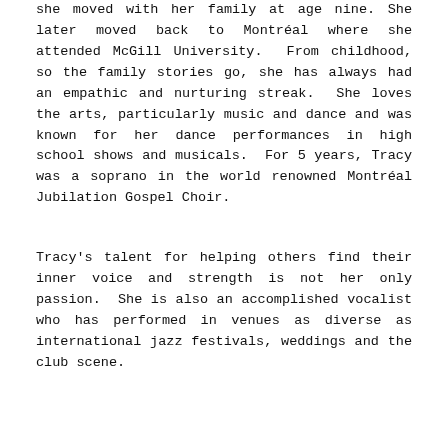she moved with her family at age nine. She later moved back to Montréal where she attended McGill University. From childhood, so the family stories go, she has always had an empathic and nurturing streak. She loves the arts, particularly music and dance and was known for her dance performances in high school shows and musicals. For 5 years, Tracy was a soprano in the world renowned Montréal Jubilation Gospel Choir.
Tracy's talent for helping others find their inner voice and strength is not her only passion. She is also an accomplished vocalist who has performed in venues as diverse as international jazz festivals, weddings and the club scene.